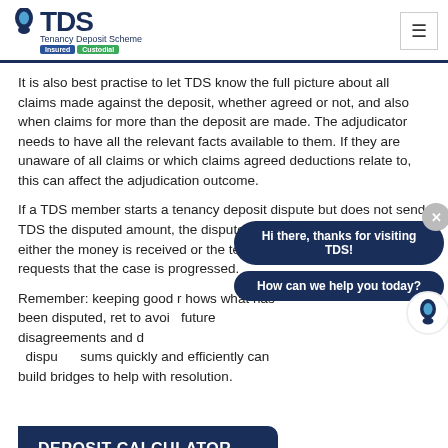TDS Tenancy Deposit Scheme Insured Custodial
It is also best practise to let TDS know the full picture about all claims made against the deposit, whether agreed or not, and also when claims for more than the deposit are made. The adjudicator needs to have all the relevant facts available to them.  If they are unaware of all claims or which claims agreed deductions relate to, this can affect the adjudication outcome.
If a TDS member starts a tenancy deposit dispute but does not send TDS the disputed amount, the dispute will not move forward until either the money is received or the tenant engages with TDS to requests that the case is progressed.
Remember: keeping good records shows what has been disputed, retaining evidence will help to avoid future disagreements and dealing with agreed disputed sums quickly and efficiently can build bridges to help with resolution.
[Figure (screenshot): Chat popup overlay with two dark navy blue speech bubbles: 'Hi there, thanks for visiting TDS!' and 'How can we help you today?' with a close button and TDS icon]
DEPOSIT CALCULATOR